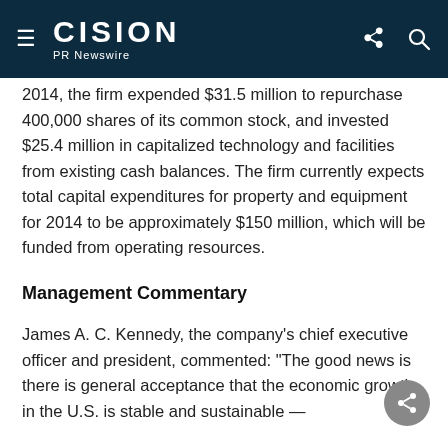CISION PR Newswire
2014, the firm expended $31.5 million to repurchase 400,000 shares of its common stock, and invested $25.4 million in capitalized technology and facilities from existing cash balances. The firm currently expects total capital expenditures for property and equipment for 2014 to be approximately $150 million, which will be funded from operating resources.
Management Commentary
James A. C. Kennedy, the company's chief executive officer and president, commented: "The good news is there is general acceptance that the economic growth in the U.S. is stable and sustainable —